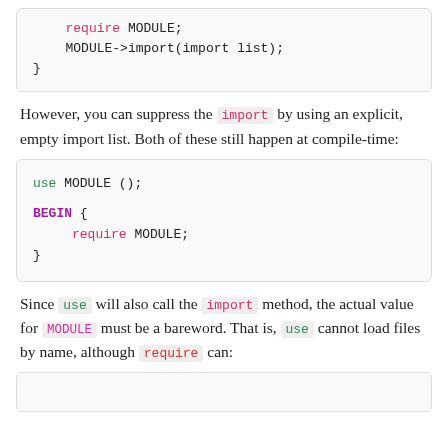[Figure (screenshot): Code block showing: require MODULE; MODULE->import(import list); }]
However, you can suppress the import by using an explicit, empty import list. Both of these still happen at compile-time:
[Figure (screenshot): Code block showing: use MODULE (); BEGIN { require MODULE; }]
Since use will also call the import method, the actual value for MODULE must be a bareword. That is, use cannot load files by name, although require can:
[Figure (screenshot): Code block (partial, bottom cut off)]